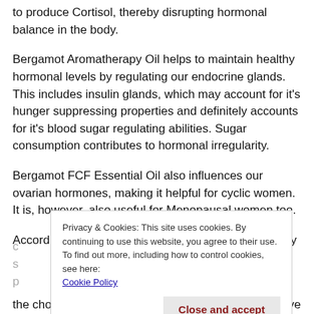to produce Cortisol, thereby disrupting hormonal balance in the body.
Bergamot Aromatherapy Oil helps to maintain healthy hormonal levels by regulating our endocrine glands. This includes insulin glands, which may account for it's hunger suppressing properties and definitely accounts for it's blood sugar regulating abilities. Sugar consumption contributes to hormonal irregularity.
Bergamot FCF Essential Oil also influences our ovarian hormones, making it helpful for cyclic women. It is, however, also useful for Menopausal women too.
According to scientific research, women who regularly
the cholesterol burden in the body may have a positive
[Figure (screenshot): Cookie consent banner overlay with text: 'Privacy & Cookies: This site uses cookies. By continuing to use this website, you agree to their use. To find out more, including how to control cookies, see here: Cookie Policy' and a 'Close and accept' button.]